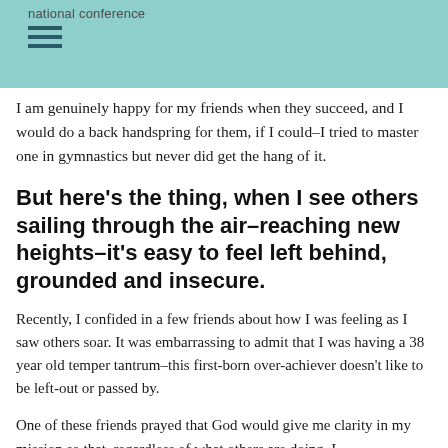national conference
I am genuinely happy for my friends when they succeed, and I would do a back handspring for them, if I could–I tried to master one in gymnastics but never did get the hang of it.
But here's the thing, when I see others sailing through the air–reaching new heights–it's easy to feel left behind, grounded and insecure.
Recently, I confided in a few friends about how I was feeling as I saw others soar. It was embarrassing to admit that I was having a 38 year old temper tantrum–this first-born over-achiever doesn't like to be left-out or passed by.
One of these friends prayed that God would give me clarity in my mission so that, regardless of what others are doing, I